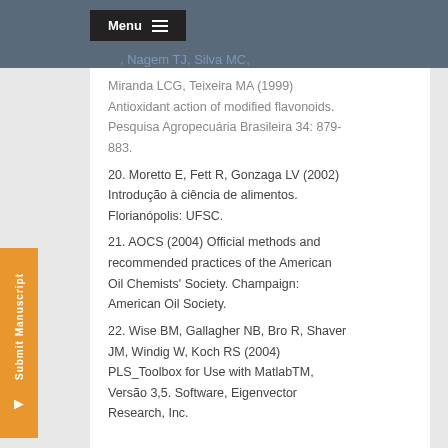Menu
Miranda LCG, Teixeira MA (1999) Antioxidant action of modified flavonoids. Pesquisa Agropecuária Brasileira 34: 879-883.
20. Moretto E, Fett R, Gonzaga LV (2002) Introdução à ciência de alimentos. Florianópolis: UFSC.
21. AOCS (2004) Official methods and recommended practices of the American Oil Chemists' Society. Champaign: American Oil Society.
22. Wise BM, Gallagher NB, Bro R, Shaver JM, Windig W, Koch RS (2004) PLS_Toolbox for Use with MatlabTM, Versão 3,5. Software, Eigenvector Research, Inc.